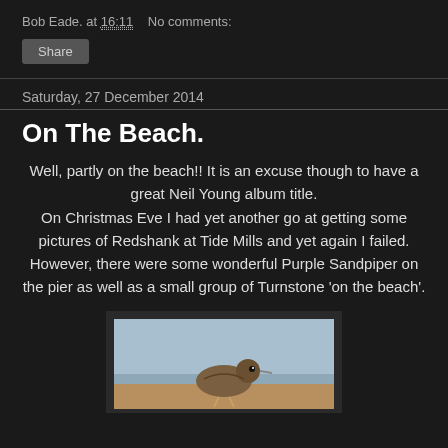Bob Eade. at 16:11    No comments:
Share
Saturday, 27 December 2014
On The Beach.
Well, partly on the beach!! It is an excuse though to have a great Neil Young album title.
On Christmas Eve I had yet another go at getting some pictures of Redshank at Tide Mills and yet again I failed. However, there were some wonderful Purple Sandpiper on the pier as well as a small group of Turnstone 'on the beach'.
[Figure (photo): A bird (likely a Turnstone or Purple Sandpiper) photographed on a beach, shown close up with a blue-grey sky background.]